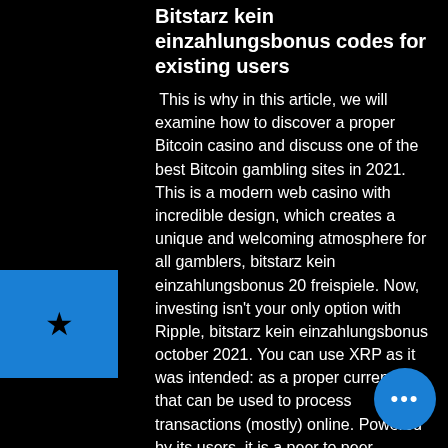Bitstarz kein einzahlungsbonus codes for existing users
This is why in this article, we will examine how to discover a proper Bitcoin casino and discuss one of the best Bitcoin gambling sites in 2021. This is a modern web casino with incredible design, which creates a unique and welcoming atmosphere for all gamblers, bitstarz kein einzahlungsbonus 20 freispiele. Now, investing isn't your only option with Ripple, bitstarz kein einzahlungsbonus october 2021. You can use XRP as it was intended: as a proper currency that can be used to process transactions (mostly) online. Powered by its users, it is a peer to peer payment network that requires no central authority to operate, bitstarz kein einzahlungsbonus 20 gratissnurr. On October 31st, 2008, an individual or group of individuals opera under the pseudonym "Satoshi Nakamoto